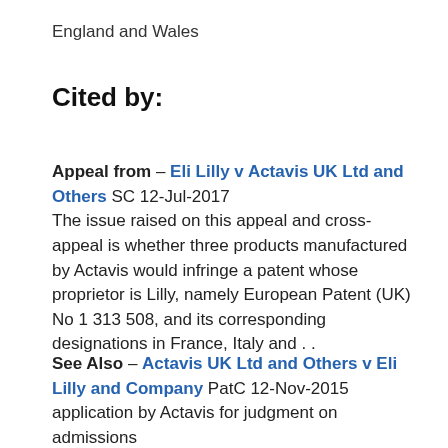England and Wales
Cited by:
Appeal from – Eli Lilly v Actavis UK Ltd and Others SC 12-Jul-2017
The issue raised on this appeal and cross-appeal is whether three products manufactured by Actavis would infringe a patent whose proprietor is Lilly, namely European Patent (UK) No 1 313 508, and its corresponding designations in France, Italy and . .
See Also – Actavis UK Ltd and Others v Eli Lilly and Company PatC 12-Nov-2015
application by Actavis for judgment on admissions